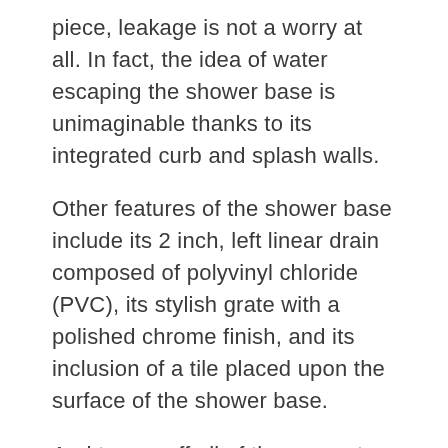piece, leakage is not a worry at all. In fact, the idea of water escaping the shower base is unimaginable thanks to its integrated curb and splash walls.
Other features of the shower base include its 2 inch, left linear drain composed of polyvinyl chloride (PVC), its stylish grate with a polished chrome finish, and its inclusion of a tile placed upon the surface of the shower base.
And to cap off all of these great features, is the easy and fast